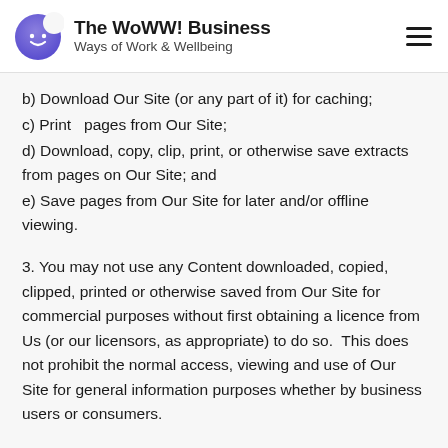The WoWW! Business — Ways of Work & Wellbeing
b) Download Our Site (or any part of it) for caching;
c) Print  pages from Our Site;
d) Download, copy, clip, print, or otherwise save extracts from pages on Our Site; and
e) Save pages from Our Site for later and/or offline viewing.
3. You may not use any Content downloaded, copied, clipped, printed or otherwise saved from Our Site for commercial purposes without first obtaining a licence from Us (or our licensors, as appropriate) to do so.  This does not prohibit the normal access, viewing and use of Our Site for general information purposes whether by business users or consumers.